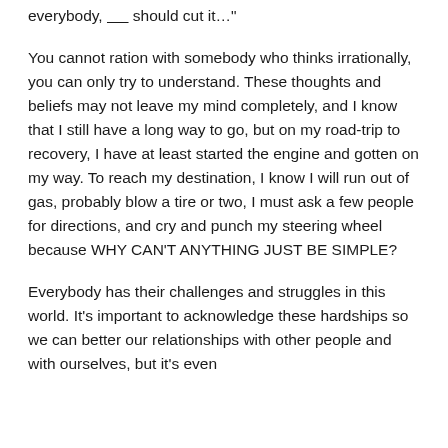everybody, _____ should cut it…"
You cannot ration with somebody who thinks irrationally, you can only try to understand. These thoughts and beliefs may not leave my mind completely, and I know that I still have a long way to go, but on my road-trip to recovery, I have at least started the engine and gotten on my way. To reach my destination, I know I will run out of gas, probably blow a tire or two, I must ask a few people for directions, and cry and punch my steering wheel because WHY CAN'T ANYTHING JUST BE SIMPLE?
Everybody has their challenges and struggles in this world. It's important to acknowledge these hardships so we can better our relationships with other people and with ourselves, but it's even